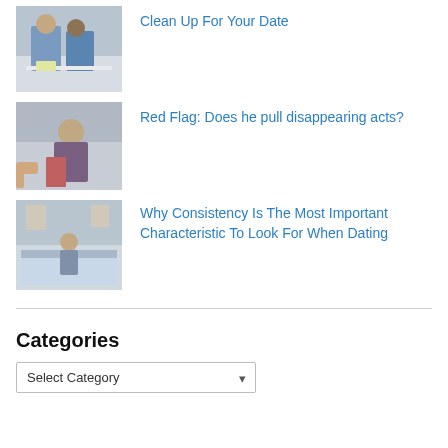[Figure (photo): Couple cooking together in kitchen, woman holding bowl, man beside her]
Clean Up For Your Date
[Figure (photo): Man looking down, another person visible in background]
Red Flag: Does he pull disappearing acts?
[Figure (photo): Woman sitting on bed in a bedroom, looking thoughtful]
Why Consistency Is The Most Important Characteristic To Look For When Dating
Categories
Select Category